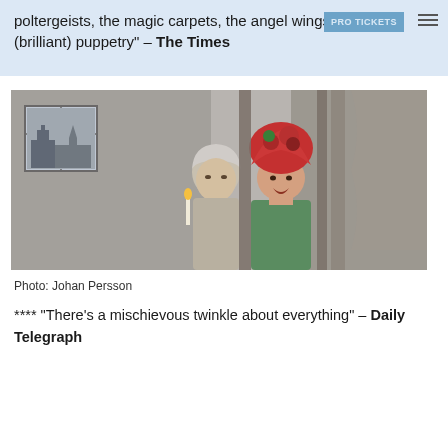poltergeists, the magic carpets, the angel wings and the (brilliant) puppetry" – The Times
[Figure (photo): Two theatrical performers on stage in period costume. Left figure has grey/white hair, right figure has a large red floral headdress and bright red hair, mouth open in expression. Ornate wallpapered room background with window showing a city skyline, wooden panelling and curtains.]
Photo: Johan Persson
**** "There's a mischievous twinkle about everything" – Daily Telegraph